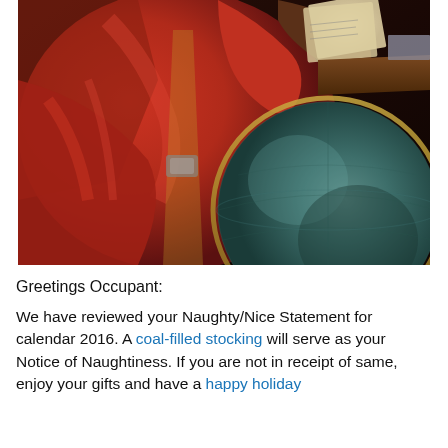[Figure (illustration): A painting depicting a figure in a red coat (resembling Santa Claus) holding papers or a book, with a large dark teal/green globe in the foreground. Dark, dramatic oil-painting style with rich reds and dark browns.]
Greetings Occupant:
We have reviewed your Naughty/Nice Statement for calendar 2016. A coal-filled stocking will serve as your Notice of Naughtiness. If you are not in receipt of same, enjoy your gifts and have a happy holiday